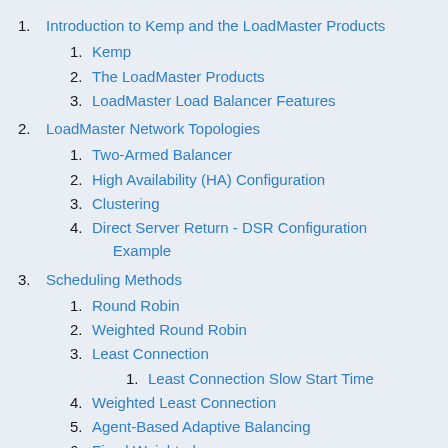1. Introduction to Kemp and the LoadMaster Products
1. Kemp
2. The LoadMaster Products
3. LoadMaster Load Balancer Features
2. LoadMaster Network Topologies
1. Two-Armed Balancer
2. High Availability (HA) Configuration
3. Clustering
4. Direct Server Return - DSR Configuration Example
3. Scheduling Methods
1. Round Robin
2. Weighted Round Robin
3. Least Connection
1. Least Connection Slow Start Time
4. Weighted Least Connection
5. Agent-Based Adaptive Balancing
6. Fixed Weighted
7. Weighted Response Time